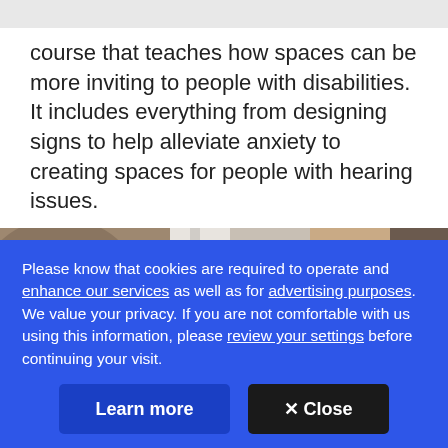course that teaches how spaces can be more inviting to people with disabilities. It includes everything from designing signs to help alleviate anxiety to creating spaces for people with hearing issues.
[Figure (photo): Photograph of an older man with gray hair standing outside near a porch column and siding of a house, partially visible from shoulders up.]
Please know that cookies are required to operate and enhance our services as well as for advertising purposes. We value your privacy. If you are not comfortable with us using this information, please review your settings before continuing your visit.